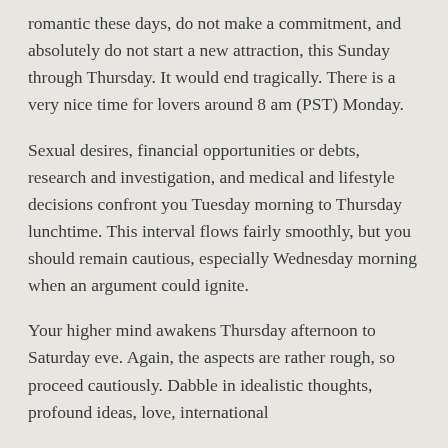romantic these days, do not make a commitment, and absolutely do not start a new attraction, this Sunday through Thursday. It would end tragically. There is a very nice time for lovers around 8 am (PST) Monday.
Sexual desires, financial opportunities or debts, research and investigation, and medical and lifestyle decisions confront you Tuesday morning to Thursday lunchtime. This interval flows fairly smoothly, but you should remain cautious, especially Wednesday morning when an argument could ignite.
Your higher mind awakens Thursday afternoon to Saturday eve. Again, the aspects are rather rough, so proceed cautiously. Dabble in idealistic thoughts, profound ideas, love, international